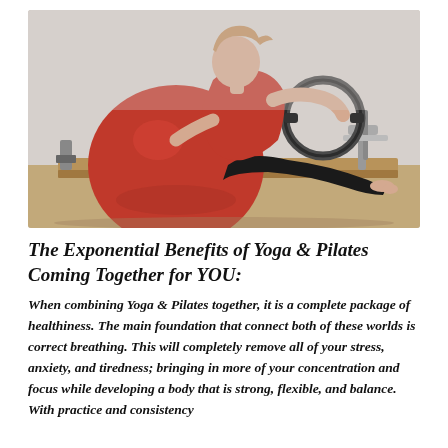[Figure (photo): A pregnant woman in a red top and black leggings performing Pilates on a reformer machine, using a red exercise ball and a Pilates ring, in a gym/studio setting.]
The Exponential Benefits of Yoga & Pilates Coming Together for YOU:
When combining Yoga & Pilates together, it is a complete package of healthiness. The main foundation that connect both of these worlds is correct breathing. This will completely remove all of your stress, anxiety, and tiredness; bringing in more of your concentration and focus while developing a body that is strong, flexible, and balance. With practice and consistency